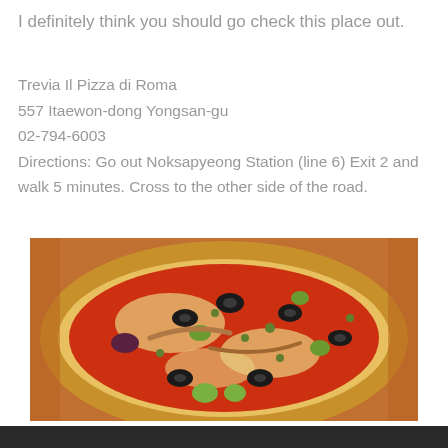I definitely think you should go check this place out.
Trevia Il Pizza di Roma
557 Itaewon-dong Yongsan-gu
02-794-6003
Directions: Go out Noksapyeong Station (line 6) Exit 2 and walk 5 minutes. Cross to the other side of the road.
[Figure (photo): A pizza topped with olives, capers, anchovies and tomato sauce on a wooden board.]
[Figure (photo): Partial dark strip at the bottom, likely another photo beginning.]